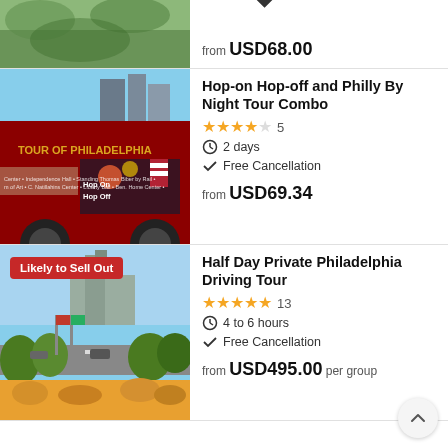[Figure (photo): Partial view of a top listing card showing a green/landscape thumbnail image. Only the bottom portion is visible.]
Free Cancellation
from USD68.00
[Figure (photo): Philadelphia tour bus wrapped with 'TOUR OF PHILADELPHIA' branding and 'Hop On Hop Off' text on the side.]
Hop-on Hop-off and Philly By Night Tour Combo
4.5 stars, 5 reviews
2 days
Free Cancellation
from USD69.34
[Figure (photo): Philadelphia city scene with Benjamin Franklin Parkway, colorful flags, trees, and city hall in background. Badge: Likely to Sell Out.]
Half Day Private Philadelphia Driving Tour
5 stars, 13 reviews
4 to 6 hours
Free Cancellation
from USD495.00 per group